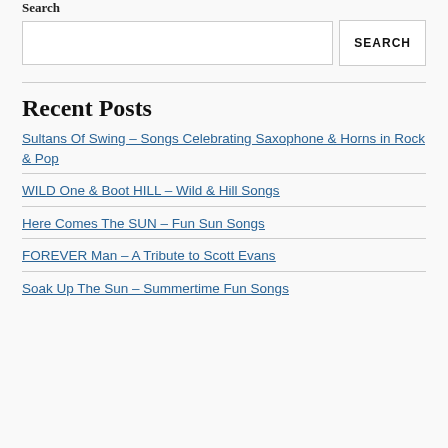Search
Recent Posts
Sultans Of Swing – Songs Celebrating Saxophone & Horns in Rock & Pop
WILD One & Boot HILL – Wild & Hill Songs
Here Comes The SUN – Fun Sun Songs
FOREVER Man – A Tribute to Scott Evans
Soak Up The Sun – Summertime Fun Songs